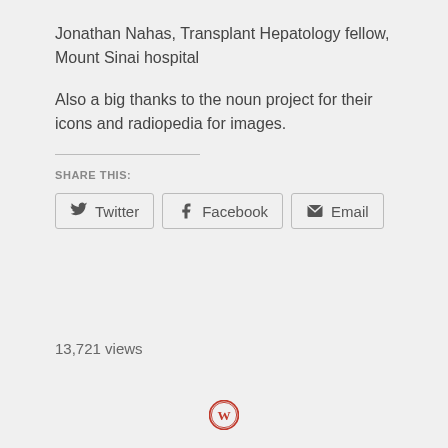Jonathan Nahas, Transplant Hepatology fellow, Mount Sinai hospital
Also a big thanks to the noun project for their icons and radiopedia for images.
SHARE THIS:
Twitter  Facebook  Email
13,721 views
[Figure (logo): WordPress logo in red]